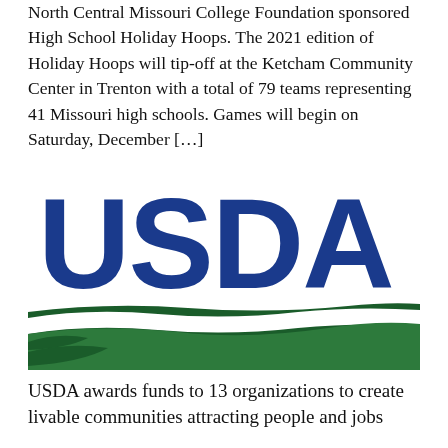North Central Missouri College Foundation sponsored High School Holiday Hoops. The 2021 edition of Holiday Hoops will tip-off at the Ketcham Community Center in Trenton with a total of 79 teams representing 41 Missouri high schools. Games will begin on Saturday, December […]
[Figure (logo): USDA (United States Department of Agriculture) logo — large blue block letters 'USDA' above a dark green swooping landscape graphic with rolling hills and field lines in green and white.]
USDA awards funds to 13 organizations to create livable communities attracting people and jobs